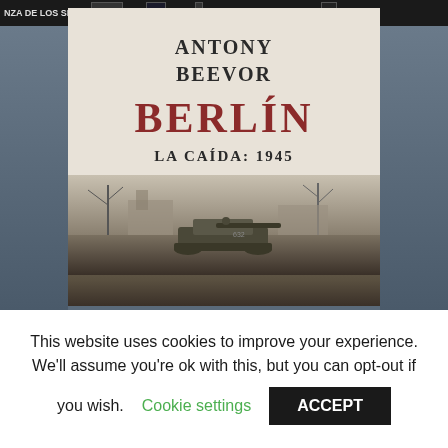[Figure (photo): A photograph of the book 'Berlín: La Caída 1945' by Antony Beevor sitting on a shelf. The book cover shows the author's name, the title 'BERLÍN' in large red letters, and the subtitle 'LA CAÍDA: 1945'. Below the text is a black-and-white war photograph showing a tank in a destroyed Berlin street. Behind the book are VHS tapes/DVDs on a shelf including labels 'NZA DE LOS SIMI...', 'CINE', and 'A LA HORA SEÑALADA'.]
This website uses cookies to improve your experience. We'll assume you're ok with this, but you can opt-out if you wish. Cookie settings ACCEPT